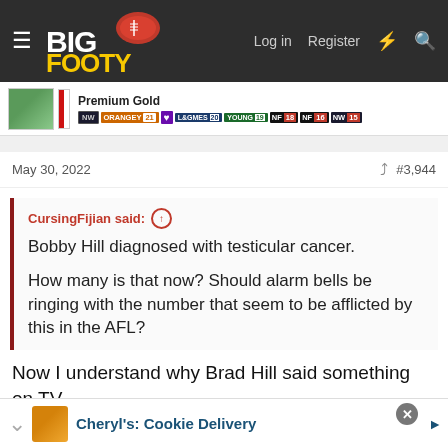[Figure (logo): BigFooty website header with logo, hamburger menu, Log in, Register, and search icons on dark background]
[Figure (infographic): User profile row showing avatar, flag, Premium Gold label, and various forum badges including NW, ORANGEY 21, heart, L&G MES 20, YOUNG 19, NF 18, NF 16, NW 15]
May 30, 2022
#3,944
CursingFijian said: ↑
Bobby Hill diagnosed with testicular cancer.

How many is that now? Should alarm bells be ringing with the number that seem to be afflicted by this in the AFL?
Now I understand why Brad Hill said something on TV
[Figure (screenshot): Ad banner for Cheryl's: Cookie Delivery with close button]